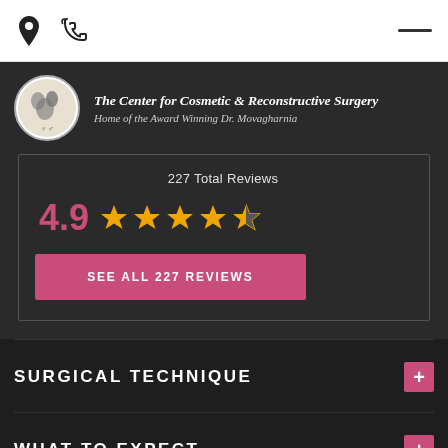Navigation header with location pin, phone, and hamburger menu
[Figure (logo): The Center for Cosmetic & Reconstructive Surgery logo with circular emblem]
The Center for Cosmetic & Reconstructive Surgery Home of the Award Winning Dr. Movagharnia
227 Total Reviews
4.9 ★★★★½
SEE ALL 227 REVIEWS
SURGICAL TECHNIQUE
WHAT TO EXPECT